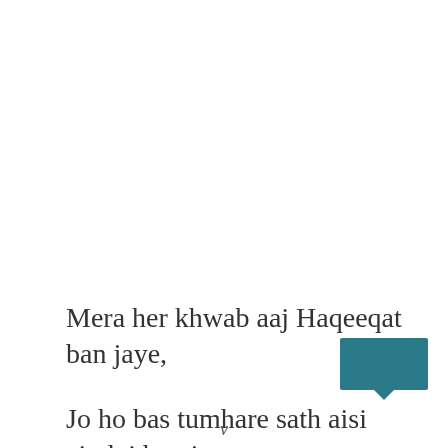Mera her khwab aaj Haqeeqat ban jaye,
Jo ho bas tumhare sath aisi zindgi ban jaye,
v